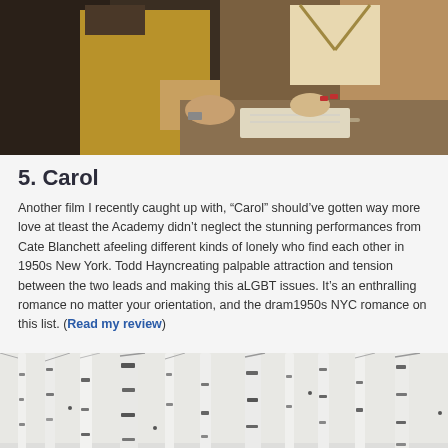[Figure (photo): Two people at a counter or desk in a warm-toned scene; one wearing a yellow sweater, the other in a fur coat holding a handbag; a pen and notepad visible on the counter.]
5. Carol
Another film I recently caught up with, “Carol” should’ve gotten way more love at t… least the Academy didn’t neglect the stunning performances from Cate Blanchett a… feeling different kinds of lonely who find each other in 1950s New York. Todd Hayn… creating palpable attraction and tension between the two leads and making this a… LGBT issues. It’s an enthralling romance no matter your orientation, and the dram… 1950s NYC romance on this list. (Read my review)
[Figure (photo): Winter forest scene with tall white birch or aspen trees against a snowy, pale background.]